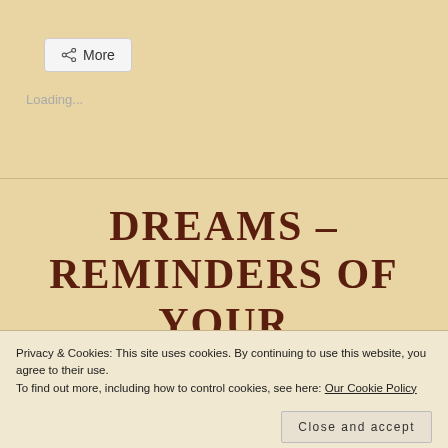[Figure (screenshot): Share button with share icon and 'More' label on beige background]
Loading...
DREAMS – REMINDERS OF YOUR SOUL
Privacy & Cookies: This site uses cookies. By continuing to use this website, you agree to their use.
To find out more, including how to control cookies, see here: Our Cookie Policy
Close and accept
[Figure (photo): Bottom strip showing partial image with text 'if you can dream it,']